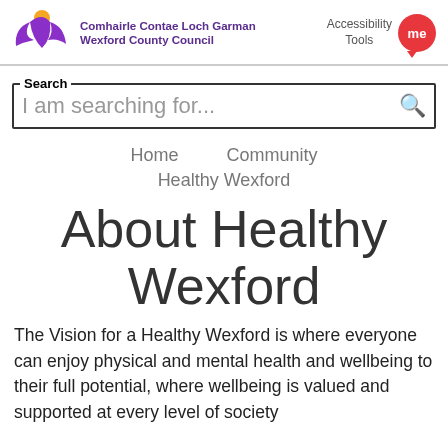Comhairle Contae Loch Garman Wexford County Council | Accessibility Tools
[Figure (logo): Wexford County Council logo with purple and yellow bird/wing graphic and text 'Comhairle Contae Loch Garman Wexford County Council']
Search — I am searching for...
Home    Community    Healthy Wexford
About Healthy Wexford
The Vision for a Healthy Wexford is where everyone can enjoy physical and mental health and wellbeing to their full potential, where wellbeing is valued and supported at every level of society